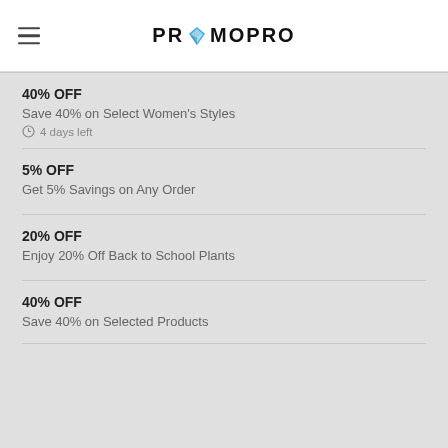PROMOPRO
40% OFF
Save 40% on Select Women's Styles
4 days left
5% OFF
Get 5% Savings on Any Order
20% OFF
Enjoy 20% Off Back to School Plants
40% OFF
Save 40% on Selected Products